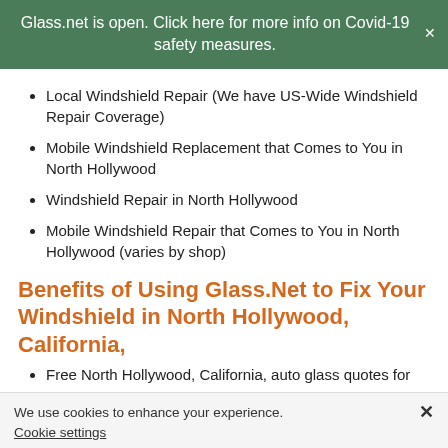Glass.net is open. Click here for more info on Covid-19 safety measures.
Local Windshield Repair (We have US-Wide Windshield Repair Coverage)
Mobile Windshield Replacement that Comes to You in North Hollywood
Windshield Repair in North Hollywood
Mobile Windshield Repair that Comes to You in North Hollywood (varies by shop)
Benefits of Using Glass.Net to Fix Your Windshield in North Hollywood, California,
Free North Hollywood, California, auto glass quotes for
We use cookies to enhance your experience. Cookie settings